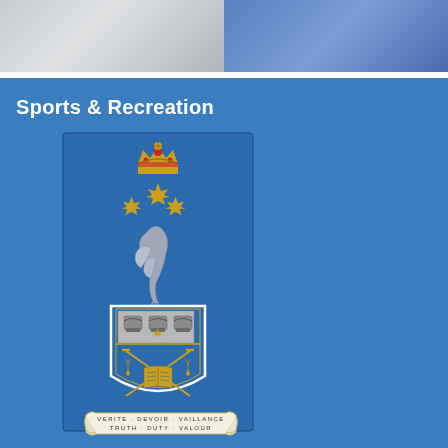[Figure (photo): Top banner showing two images side by side: left half is a grey/silver athletic image, right half is a blue athletic image]
Sports & Recreation
[Figure (logo): University or institution crest/coat of arms on blue background. Features a royal crown at top, maple leaves, a swan or bird, shield with crowns, crossed swords, open book, fleur-de-lis, and a banner reading VERITE DEVOIR VAILLANCE / TRUTH DUTY VALOUR]